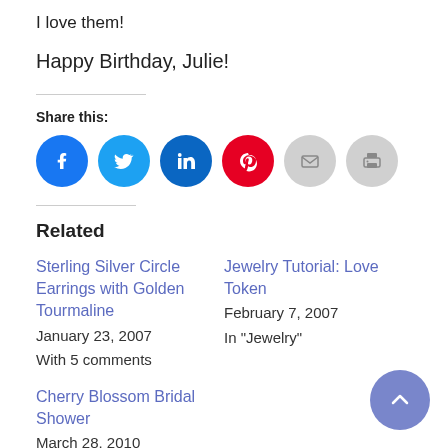I love them!
Happy Birthday, Julie!
Share this:
[Figure (infographic): Social share icons: Facebook, Twitter, LinkedIn, Pinterest, Email, Print]
Related
Sterling Silver Circle Earrings with Golden Tourmaline
January 23, 2007
With 5 comments
Jewelry Tutorial: Love Token
February 7, 2007
In "Jewelry"
Cherry Blossom Bridal Shower
March 28, 2010
In "Inspiration"